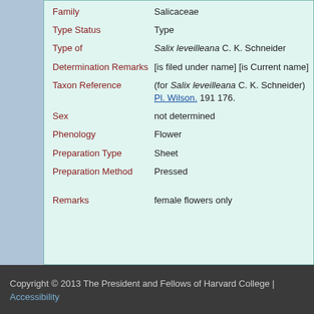| Field | Value |
| --- | --- |
| Family | Salicaceae |
| Type Status | Type |
| Type of | Salix leveilleana C. K. Schneider |
| Determination Remarks | [is filed under name] [is Current name] |
| Taxon Reference | (for Salix leveilleana C. K. Schneider) Pl. Wilson. 191 176. |
| Sex | not determined |
| Phenology | Flower |
| Preparation Type | Sheet |
| Preparation Method | Pressed |
| Remarks | female flowers only |
Copyright © 2013 The President and Fellows of Harvard College | Accessibility